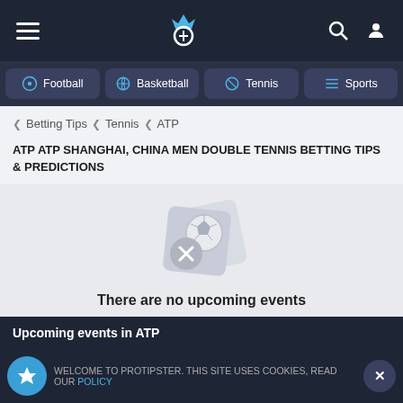Navigation bar with hamburger menu, Protipster logo, search and user icons
Football
Basketball
Tennis
Sports
< Betting Tips < Tennis < ATP
ATP ATP SHANGHAI, CHINA MEN DOUBLE TENNIS BETTING TIPS & PREDICTIONS
[Figure (illustration): Empty state illustration with overlapping ticket/card shapes containing a soccer ball icon and a grey circle with an X]
There are no upcoming events
Choose other tournaments to browse more events.
BROWSE TOURNAMENTS
Upcoming events in ATP
WELCOME TO PROTIPSTER. THIS SITE USES COOKIES, READ OUR POLICY